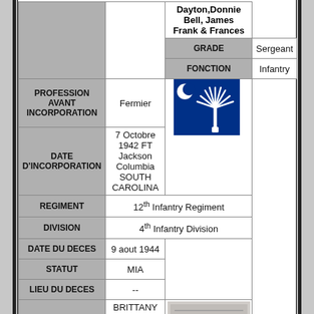|  |  |  |
| --- | --- | --- |
|  |  | Dayton,Donnie Bell, James Frank & Frances |
|  | GRADE | Sergeant |
|  | FONCTION | Infantry |
| PROFESSION AVANT INCORPORATION | Fermier | [SC Flag] |
| DATE D'INCORPORATION | 7 Octobre 1942 FT Jackson Columbia SOUTH CAROLINA | [SC Flag] |
| REGIMENT | 12th Infantry Regiment |  |
| DIVISION | 4th Infantry Division |  |
| DATE DU DECES | 9 aout 1944 |  |
| STATUT | MIA |  |
| LIEU DU DECES | -- |  |
| CIMETIERE | BRITTANY AMERICAN CEMETERY de St James
Plan du Cimetière Américain de St | [cemetery photo] |